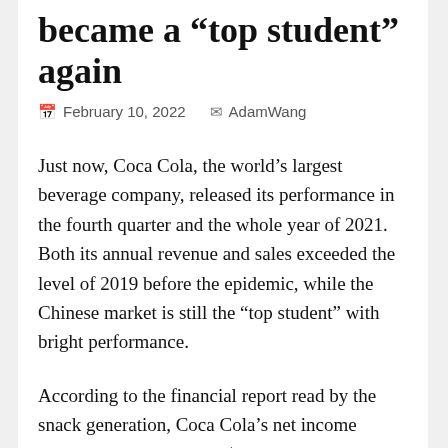became a “top student” again
February 10, 2022   AdamWang
Just now, Coca Cola, the world’s largest beverage company, released its performance in the fourth quarter and the whole year of 2021. Both its annual revenue and sales exceeded the level of 2019 before the epidemic, while the Chinese market is still the “top student” with bright performance.
According to the financial report read by the snack generation, Coca Cola’s net income increased by 10% to US $9.46 billion in the fourth quarter, according to the product...